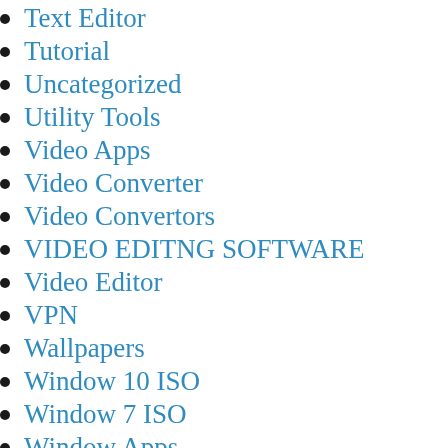Text Editor
Tutorial
Uncategorized
Utility Tools
Video Apps
Video Converter
Video Convertors
VIDEO EDITNG SOFTWARE
Video Editor
VPN
Wallpapers
Window 10 ISO
Window 7 ISO
Window Apps
Windows 10 Activator
Windows 7
WINDOWS 8 & 8.1 ISO